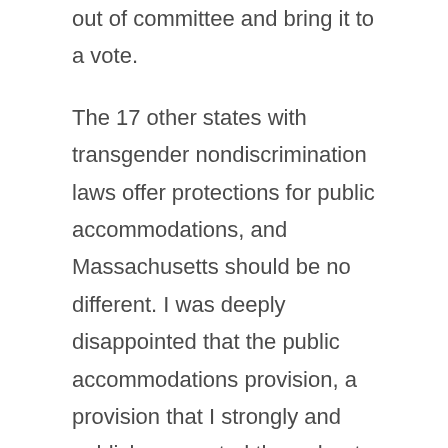out of committee and bring it to a vote.
The 17 other states with transgender nondiscrimination laws offer protections for public accommodations, and Massachusetts should be no different. I was deeply disappointed that the public accommodations provision, a provision that I strongly and publicly supported throughout the process, was not included in the transgender rights legislation previously passed. We must be a Commonwealth that leads, not follows.
[toggles] [toggle title="Q8B" opened="false"]Massachusetts' education officials